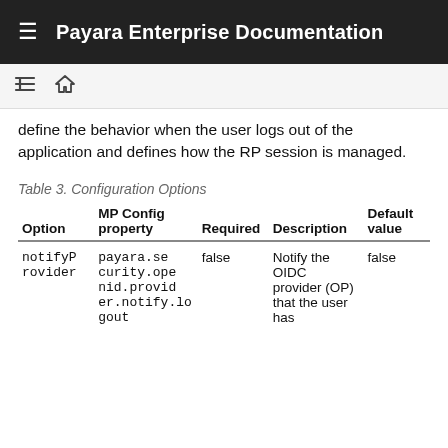Payara Enterprise Documentation
define the behavior when the user logs out of the application and defines how the RP session is managed.
Table 3. Configuration Options
| Option | MP Config property | Required | Description | Default value |
| --- | --- | --- | --- | --- |
| notifyProvider | payara.security.openid.provider.notify.logout | false | Notify the OIDC provider (OP) that the user has | false |